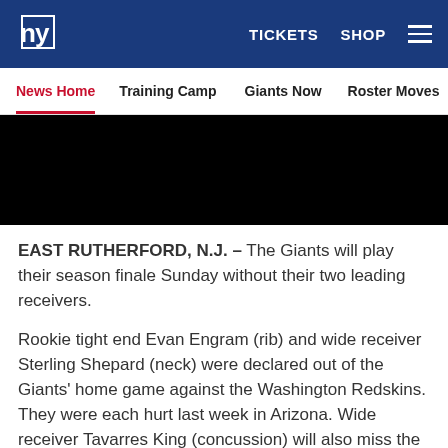NY Giants | TICKETS SHOP ☰
News Home | Training Camp | Giants Now | Roster Moves | Fact o
[Figure (photo): Black image banner (photo redacted)]
EAST RUTHERFORD, N.J. – The Giants will play their season finale Sunday without their two leading receivers.
Rookie tight end Evan Engram (rib) and wide receiver Sterling Shepard (neck) were declared out of the Giants' home game against the Washington Redskins. They were each hurt last week in Arizona. Wide receiver Tavarres King (concussion) will also miss the game.